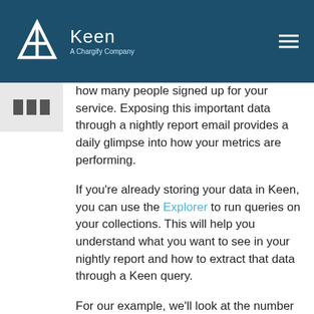Keen — A Chargify Company
how many people signed up for your service. Exposing this important data through a nightly report email provides a daily glimpse into how your metrics are performing.
If you're already storing your data in Keen, you can use the Explorer to run queries on your collections. This will help you understand what you want to see in your nightly report and how to extract that data through a Keen query.
For our example, we'll look at the number of user signups on the previous day. Let's say that each time a visitor creates an account on our website we track that data with Keen. The data model for our "signups" collection may look something